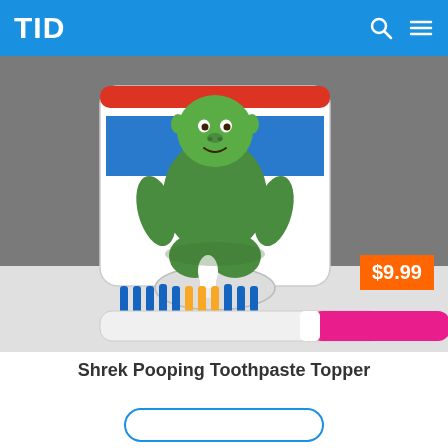TID
[Figure (photo): A green Shrek figurine toothpaste topper attached to a toothpaste tube, dispending white toothpaste onto a toothbrush with blue and yellow bristles. A pink toothbrush handle is visible at the bottom right. Price badge shows $9.99 in the bottom right corner of the image.]
Shrek Pooping Toothpaste Topper